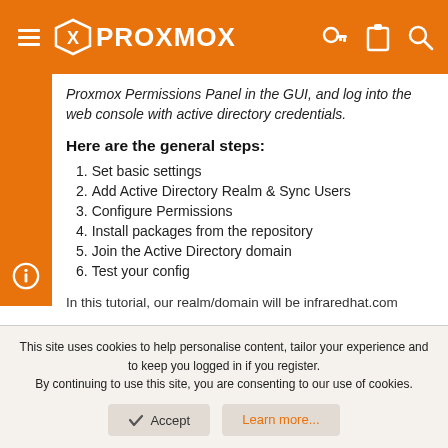PROXMOX
Proxmox Permissions Panel in the GUI, and log into the web console with active directory credentials.
Here are the general steps:
1. Set basic settings
2. Add Active Directory Realm & Sync Users
3. Configure Permissions
4. Install packages from the repository
5. Join the Active Directory domain
6. Test your config
In this tutorial, our realm/domain will be infraredhat.com
This site uses cookies to help personalise content, tailor your experience and to keep you logged in if you register. By continuing to use this site, you are consenting to our use of cookies.